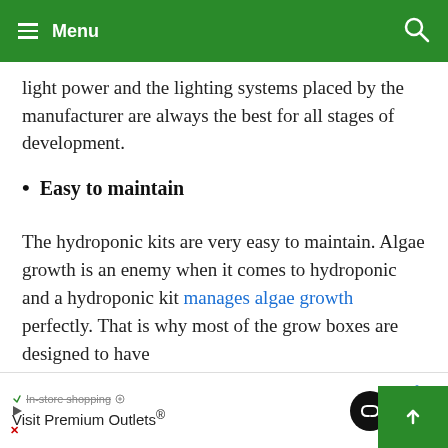Menu
light power and the lighting systems placed by the manufacturer are always the best for all stages of development.
Easy to maintain
The hydroponic kits are very easy to maintain. Algae growth is an enemy when it comes to hydroponic and a hydroponic kit manages algae growth perfectly. That is why most of the grow boxes are designed to have
[Figure (other): Advertisement banner for Visit Premium Outlets with loop logo and navigation arrow icon, in-store shopping text]